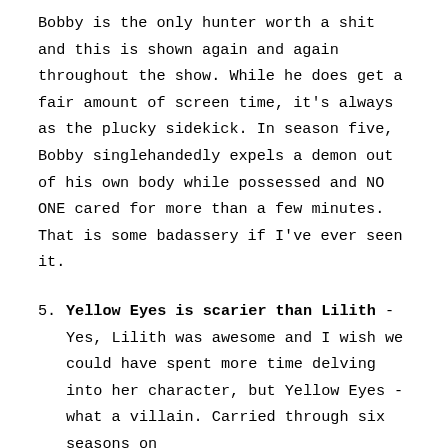Bobby is the only hunter worth a shit and this is shown again and again throughout the show. While he does get a fair amount of screen time, it's always as the plucky sidekick. In season five, Bobby singlehandedly expels a demon out of his own body while possessed and NO ONE cared for more than a few minutes. That is some badassery if I've ever seen it.
5. Yellow Eyes is scarier than Lilith - Yes, Lilith was awesome and I wish we could have spent more time delving into her character, but Yellow Eyes - what a villain. Carried through six seasons on